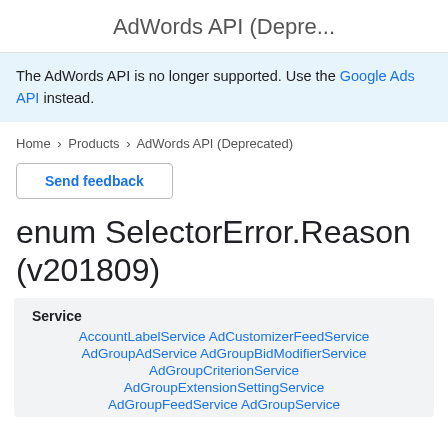AdWords API (Depre...
The AdWords API is no longer supported. Use the Google Ads API instead.
Home > Products > AdWords API (Deprecated)
Send feedback
enum SelectorError.Reason (v201809)
| Service |
| --- |
| AccountLabelService AdCustomizerFeedService |
| AdGroupAdService AdGroupBidModifierService |
| AdGroupCriterionService |
| AdGroupExtensionSettingService |
| AdGroupFeedService AdGroupService |